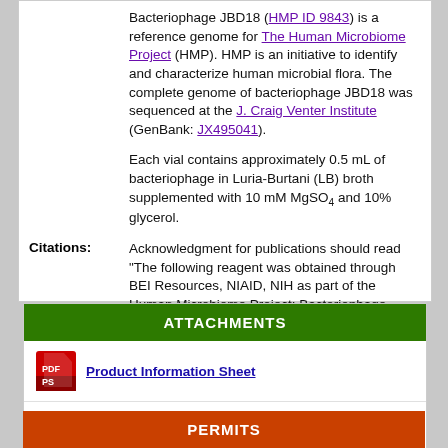Bacteriophage JBD18 (HMP ID 9843) is a reference genome for The Human Microbiome Project (HMP). HMP is an initiative to identify and characterize human microbial flora. The complete genome of bacteriophage JBD18 was sequenced at the J. Craig Venter Institute (GenBank: JX495041).
Each vial contains approximately 0.5 mL of bacteriophage in Luria-Burtani (LB) broth supplemented with 10 mM MgSO4 and 10% glycerol.
Citations: Acknowledgment for publications should read "The following reagent was obtained through BEI Resources, NIAID, NIH as part of the Human Microbiome Project: Bacteriophage JBD18, Infectious for Pseudomonas aeruginosa, HM-601."
ATTACHMENTS
Product Information Sheet
Certificate of Analysis by Lot
PERMITS